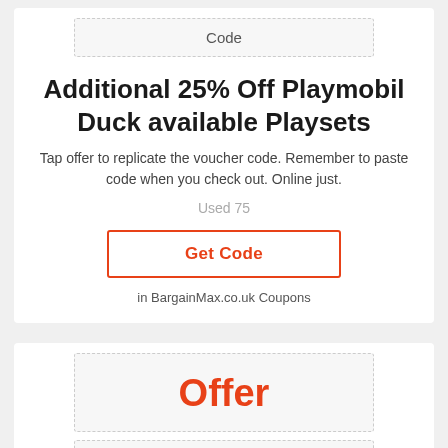Code
Additional 25% Off Playmobil Duck available Playsets
Tap offer to replicate the voucher code. Remember to paste code when you check out. Online just.
Used 75
Get Code
in BargainMax.co.uk Coupons
Offer
Code